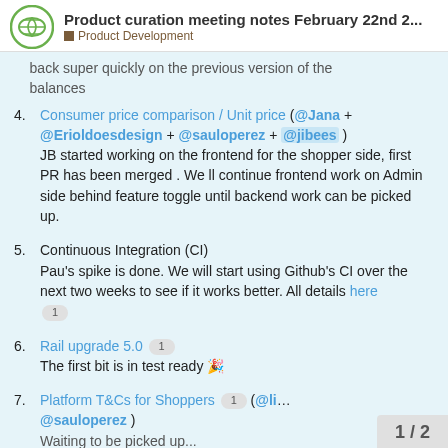Product curation meeting notes February 22nd 2... | Product Development
back super quickly on the previous version of the balances
4. Consumer price comparison / Unit price (@Jana + @Erioldoesdesign + @sauloperez + @jibees) JB started working on the frontend for the shopper side, first PR has been merged . We ll continue frontend work on Admin side behind feature toggle until backend work can be picked up.
5. Continuous Integration (CI) Pau's spike is done. We will start using Github's CI over the next two weeks to see if it works better. All details here [1]
6. Rail upgrade 5.0 [1] The first bit is in test ready 🎉
7. Platform T&Cs for Shoppers [1] (@li... @sauloperez ) Waiting to be picked up...
1 / 2